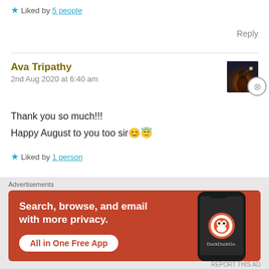Liked by 5 people
Reply
Ava Tripathy
2nd Aug 2020 at 6:40 am
[Figure (photo): User avatar thumbnail showing a silhouette figure against an orange/reddish background]
Thank you so much!!!
Happy August to you too sir 😊😇
Liked by 1 person
[Figure (screenshot): DuckDuckGo advertisement banner. Text: Search, browse, and email with more privacy. All in One Free App. Shows a phone with DuckDuckGo logo.]
Advertisements